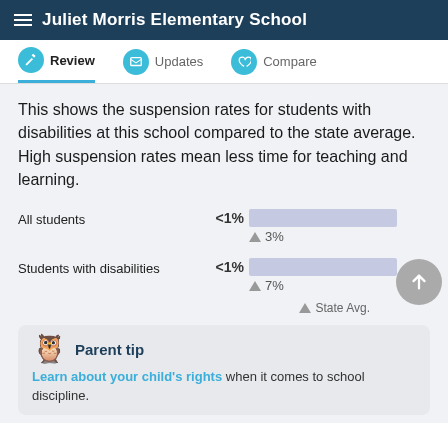Juliet Morris Elementary School
Review | Updates | Compare
This shows the suspension rates for students with disabilities at this school compared to the state average. High suspension rates mean less time for teaching and learning.
[Figure (bar-chart): Suspension rates]
▲ State Avg.
Learn about your child's rights when it comes to school discipline.
Parent tip